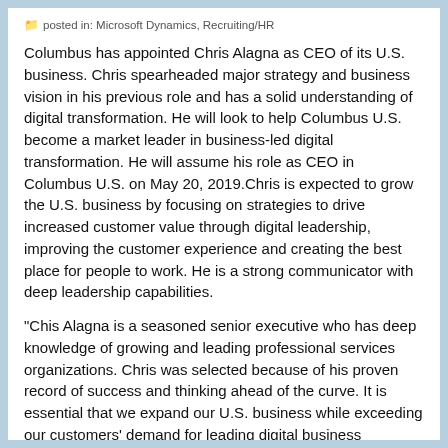posted in: Microsoft Dynamics, Recruiting/HR
Columbus has appointed Chris Alagna as CEO of its U.S. business. Chris spearheaded major strategy and business vision in his previous role and has a solid understanding of digital transformation. He will look to help Columbus U.S. become a market leader in business-led digital transformation. He will assume his role as CEO in Columbus U.S. on May 20, 2019.Chris is expected to grow the U.S. business by focusing on strategies to drive increased customer value through digital leadership, improving the customer experience and creating the best place for people to work. He is a strong communicator with deep leadership capabilities.
"Chis Alagna is a seasoned senior executive who has deep knowledge of growing and leading professional services organizations. Chris was selected because of his proven record of success and thinking ahead of the curve. It is essential that we expand our U.S. business while exceeding our customers' demand for leading digital business solutions. I look forward to working together with Chris Alagna on building Columbus US to become a true market leader," says